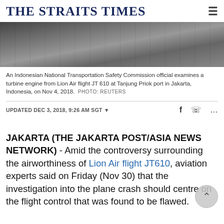THE STRAITS TIMES
[Figure (photo): Wreckage of turbine engine parts from Lion Air flight JT 610 being examined at Tanjung Priok port in Jakarta, Indonesia]
An Indonesian National Transportation Safety Commission official examines a turbine engine from Lion Air flight JT 610 at Tanjung Priok port in Jakarta, Indonesia, on Nov 4, 2018. PHOTO: REUTERS
UPDATED DEC 3, 2018, 9:26 AM SGT
JAKARTA (THE JAKARTA POST/ASIA NEWS NETWORK) - Amid the controversy surrounding the airworthiness of Lion Air flight JT610, aviation experts said on Friday (Nov 30) that the investigation into the plane crash should centre on the flight control that was found to be flawed.